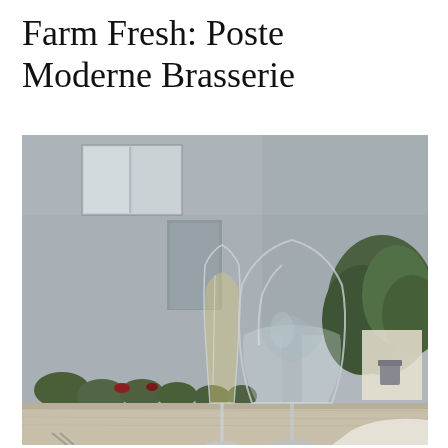Farm Fresh: Poste Moderne Brasserie
[Figure (photo): Outdoor patio scene with two wine glasses on a table in the foreground — a tall champagne flute with white wine on the left and a large stemmed water/wine glass on the right. In the background is a grey stone building with windows, green shrubs, and a draped white tablecloth with bottles.]